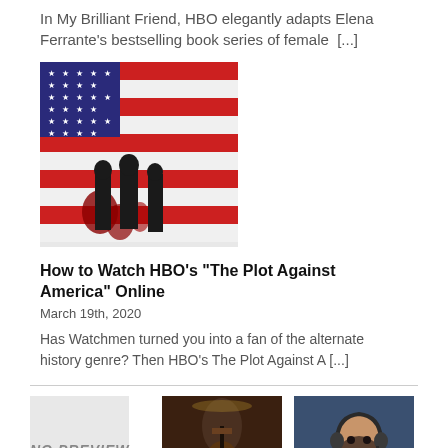In My Brilliant Friend, HBO elegantly adapts Elena Ferrante's bestselling book series of female [...]
[Figure (photo): Movie/show promotional image showing silhouettes of people in front of an American flag with dripping red paint]
How to Watch HBO's "The Plot Against America" Online
March 19th, 2020
Has Watchmen turned you into a fan of the alternate history genre? Then HBO's The Plot Against A [...]
[Figure (photo): No Preview placeholder box]
[Figure (photo): Concert performance photo showing a man playing guitar on stage]
[Figure (photo): Young woman wearing a headset in what appears to be an office or call center environment]
HOUSE OF THE
WHAT'S ON: HBO
INDUSTRY SEASON 2